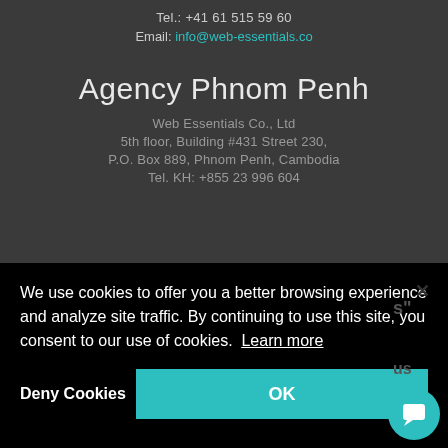Tel.: +41 61 515 59 60
Email: info@web-essentials.co
Agency Phnom Penh
Web Essentials Co., Ltd
5th floor, Building #431 Street 230,
P.O. Box 889, Phnom Penh, Cambodia
Tel. KH: +855 23 996 604
We use cookies to offer you a better browsing experience and analyze site traffic. By continuing to use this site, you consent to our use of cookies. Learn more
Deny Cookies
OK